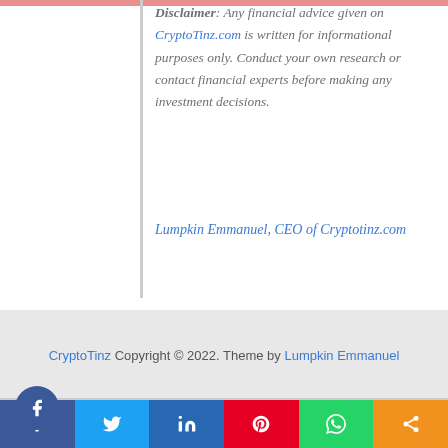Disclaimer: Any financial advice given on CryptoTinz.com is written for informational purposes only. Conduct your own research or contact financial experts before making any investment decisions.
Lumpkin Emmanuel, CEO of Cryptotinz.com
CryptoTinz Copyright © 2022. Theme by Lumpkin Emmanuel